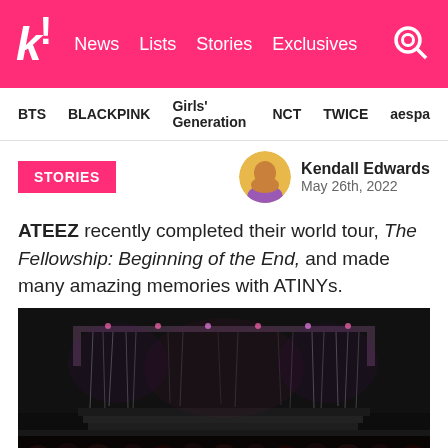k! News Lists Stories Exclusives
BTS  BLACKPINK  Girls' Generation  NCT  TWICE  aespa
STORIES
Kendall Edwards
May 26th, 2022
ATEEZ recently completed their world tour, The Fellowship: Beginning of the End, and made many amazing memories with ATINYs.
[Figure (photo): Concert stage with hanging plastic/curtain strips and lights, with audience visible at the bottom]